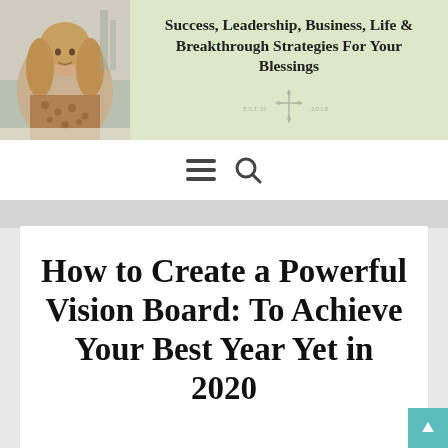[Figure (photo): Woman with long blonde hair sitting outdoors, wearing a leopard print top, smiling at camera in an outdoor setting]
Success, Leadership, Business, Life & Breakthrough Strategies For Your Blessings
[Figure (logo): Small decorative cross emblem with EST.D 2018 text on light green background]
[Figure (screenshot): Navigation bar with hamburger menu icon and search icon]
How to Create a Powerful Vision Board: To Achieve Your Best Year Yet in 2020